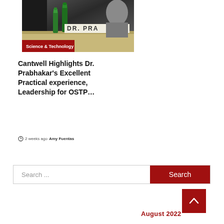[Figure (photo): Photo of Dr. Prabhakar at a hearing, with green water bottles visible and a nameplate reading DR. PRA visible. Overlay badge reads 'Science & Technology' in red.]
Cantwell Highlights Dr. Prabhakar's Excellent Practical experience, Leadership for OSTP…
2 weeks ago  Amy Fuentas
Search ...
August 2022